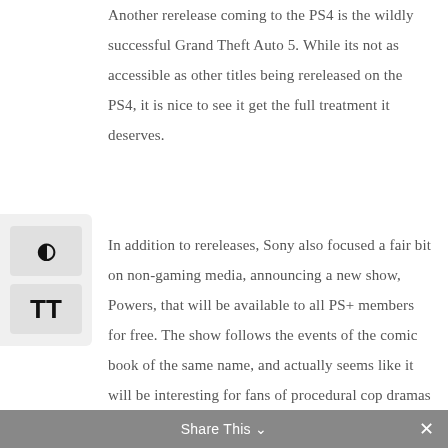Another rerelease coming to the PS4 is the wildly successful Grand Theft Auto 5. While its not as accessible as other titles being rereleased on the PS4, it is nice to see it get the full treatment it deserves.
In addition to rereleases, Sony also focused a fair bit on non-gaming media, announcing a new show, Powers, that will be available to all PS+ members for free. The show follows the events of the comic book of the same name, and actually seems like it will be interesting for fans of procedural cop dramas and superheroes.
Share This ∨  ×